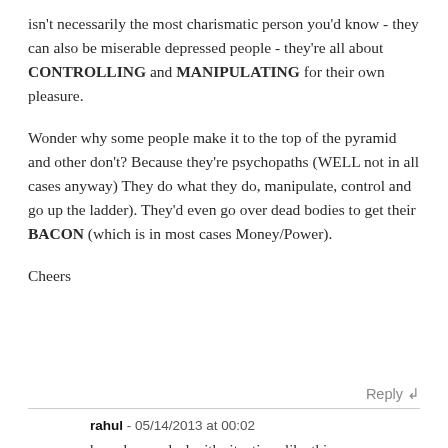isn't necessarily the most charismatic person you'd know - they can also be miserable depressed people - they're all about CONTROLLING and MANIPULATING for their own pleasure.
Wonder why some people make it to the top of the pyramid and other don't? Because they're psychopaths (WELL not in all cases anyway) They do what they do, manipulate, control and go up the ladder). They'd even go over dead bodies to get their BACON (which is in most cases Money/Power).
Cheers
Reply ↲
rahul - 05/14/2013 at 00:02
how do you deal with situations like this